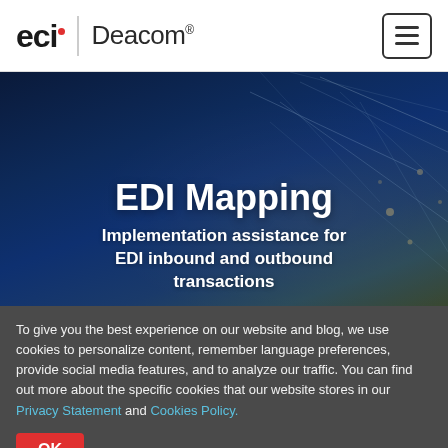[Figure (logo): ECI Deacom logo with hamburger menu button in top header]
[Figure (illustration): Dark blue hero banner with abstract network/fiber optic lines illustration]
EDI Mapping
Implementation assistance for EDI inbound and outbound transactions
To give you the best experience on our website and blog, we use cookies to personalize content, remember language preferences, provide social media features, and to analyze our traffic. You can find out more about the specific cookies that our website stores in our Privacy Statement and Cookies Policy.